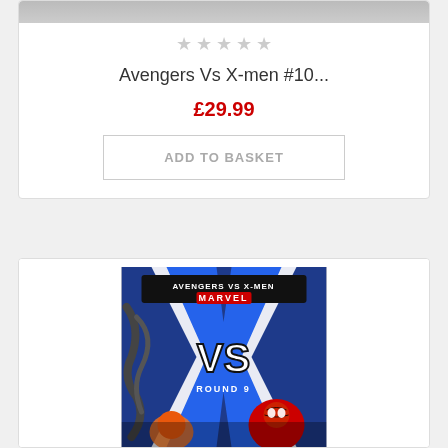[Figure (photo): Top portion of a comic book product image (cropped at top)]
★★★★★ (empty stars rating)
Avengers Vs X-men #10...
£29.99
ADD TO BASKET
[Figure (photo): Avengers Vs X-Men comic book cover, Round 9, Marvel, featuring VS logo with blue X-men background, Spider-Man and other characters]